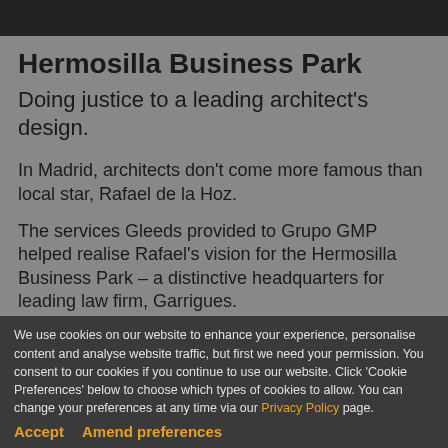Hermosilla Business Park
Doing justice to a leading architect's design.
In Madrid, architects don't come more famous than local star, Rafael de la Hoz.
The services Gleeds provided to Grupo GMP helped realise Rafael's vision for the Hermosilla Business Park – a distinctive headquarters for leading law firm, Garrigues.
We use cookies on our website to enhance your experience, personalise content and analyse website traffic, but first we need your permission. You consent to our cookies if you continue to use our website. Click 'Cookie Preferences' below to choose which types of cookies to allow. You can change your preferences at any time via our Privacy Policy page.
Accept    Amend preferences